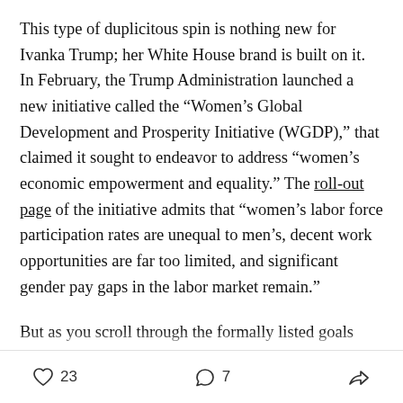This type of duplicitous spin is nothing new for Ivanka Trump; her White House brand is built on it. In February, the Trump Administration launched a new initiative called the “Women’s Global Development and Prosperity Initiative (WGDP),” that claimed it sought to endeavor to address “women’s economic empowerment and equality.” The roll-out page of the initiative admits that “women’s labor force participation rates are unequal to men’s, decent work opportunities are far too limited, and significant gender pay gaps in the labor market remain.”
But as you scroll through the formally listed goals proposed by the Trump administration, that include
23   7